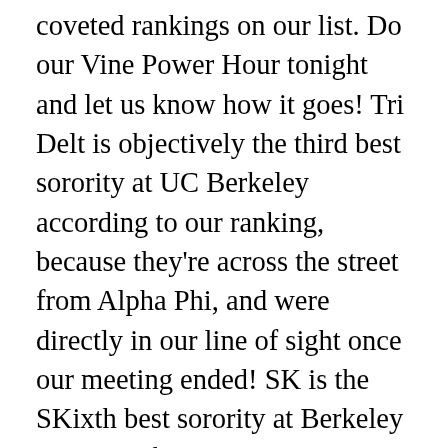coveted rankings on our list. Do our Vine Power Hour tonight and let us know how it goes! Tri Delt is objectively the third best sorority at UC Berkeley according to our ranking, because they're across the street from Alpha Phi, and were directly in our line of sight once our meeting ended! SK is the SKixth best sorority at Berkeley because of that pun! Panhellenic's mission is to foster supportive environment, which values scholarship, philanthropy, leadership, and personal growth through a unified sisterhood. That's it. But not this one! The sorority touts its diversity, but some say the standards are so loose that there's very little tying all Chi-O's together in terms of personality, looks, campus activity, or